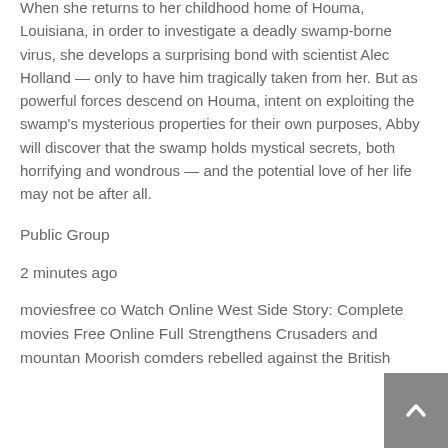When she returns to her childhood home of Houma, Louisiana, in order to investigate a deadly swamp-borne virus, she develops a surprising bond with scientist Alec Holland — only to have him tragically taken from her. But as powerful forces descend on Houma, intent on exploiting the swamp's mysterious properties for their own purposes, Abby will discover that the swamp holds mystical secrets, both horrifying and wondrous — and the potential love of her life may not be after all.
Public Group
2 minutes ago
moviesfree co Watch Online West Side Story: Complete movies Free Online Full Strengthens Crusaders and mountan Moorish comders rebelled against the British